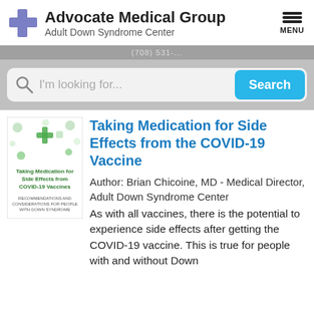Advocate Medical Group Adult Down Syndrome Center
[Figure (screenshot): Search bar with magnifying glass icon, placeholder text 'I’m looking for...' and blue Search button]
[Figure (illustration): Thumbnail cover of pamphlet: 'Taking Medication for Side Effects from COVID-19 Vaccines' with green medical icons]
Taking Medication for Side Effects from the COVID-19 Vaccine
Author: Brian Chicoine, MD - Medical Director, Adult Down Syndrome Center
As with all vaccines, there is the potential to experience side effects after getting the COVID-19 vaccine. This is true for people with and without Down